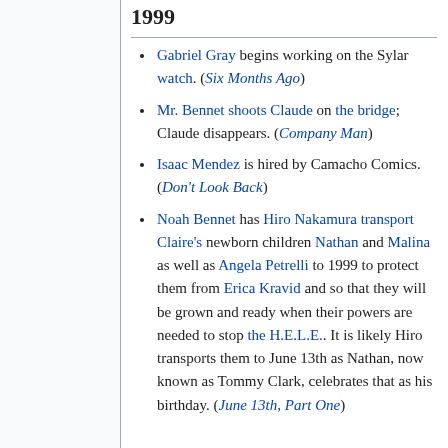1999
Gabriel Gray begins working on the Sylar watch. (Six Months Ago)
Mr. Bennet shoots Claude on the bridge; Claude disappears. (Company Man)
Isaac Mendez is hired by Camacho Comics. (Don't Look Back)
Noah Bennet has Hiro Nakamura transport Claire's newborn children Nathan and Malina as well as Angela Petrelli to 1999 to protect them from Erica Kravid and so that they will be grown and ready when their powers are needed to stop the H.E.L.E.. It is likely Hiro transports them to June 13th as Nathan, now known as Tommy Clark, celebrates that as his birthday. (June 13th, Part One)